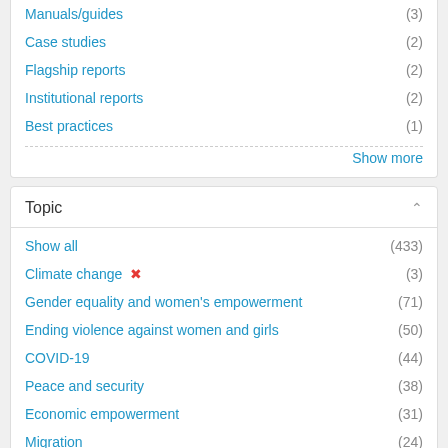Manuals/guides (3)
Case studies (2)
Flagship reports (2)
Institutional reports (2)
Best practices (1)
Show more
Topic
Show all (433)
Climate change ✗ (3)
Gender equality and women's empowerment (71)
Ending violence against women and girls (50)
COVID-19 (44)
Peace and security (38)
Economic empowerment (31)
Migration (24)
Crisis response and recovery (22)